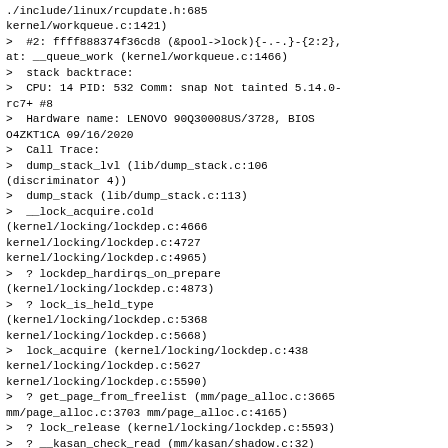./include/linux/rcupdate.h:685
kernel/workqueue.c:1421)
>  #2: ffff888374f36cd8 (&pool->lock){-.-.}-{2:2},
at: __queue_work (kernel/workqueue.c:1466)
>  stack backtrace:
>  CPU: 14 PID: 532 Comm: snap Not tainted 5.14.0-rc7+ #8
>  Hardware name: LENOVO 90Q30008US/3728, BIOS O4ZKT1CA 09/16/2020
>  Call Trace:
>  dump_stack_lvl (lib/dump_stack.c:106 (discriminator 4))
>  dump_stack (lib/dump_stack.c:113)
>  __lock_acquire.cold (kernel/locking/lockdep.c:4666 kernel/locking/lockdep.c:4727 kernel/locking/lockdep.c:4965)
>  ? lockdep_hardirqs_on_prepare (kernel/locking/lockdep.c:4873)
>  ? lock_is_held_type (kernel/locking/lockdep.c:5368 kernel/locking/lockdep.c:5668)
>  lock_acquire (kernel/locking/lockdep.c:438 kernel/locking/lockdep.c:5627 kernel/locking/lockdep.c:5590)
>  ? get_page_from_freelist (mm/page_alloc.c:3665 mm/page_alloc.c:3703 mm/page_alloc.c:4165)
>  ? lock_release (kernel/locking/lockdep.c:5593)
>  ? __kasan_check_read (mm/kasan/shadow.c:32)
>  ? __lock_acquire